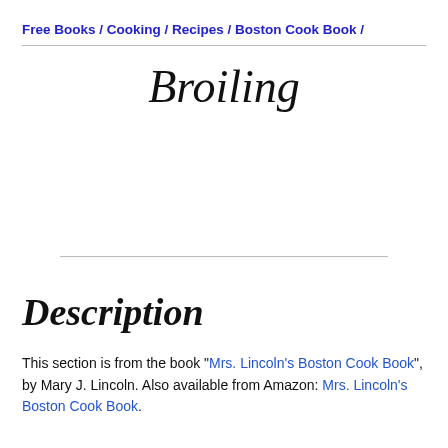Free Books / Cooking / Recipes / Boston Cook Book /
Broiling
Description
This section is from the book "Mrs. Lincoln's Boston Cook Book", by Mary J. Lincoln. Also available from Amazon: Mrs. Lincoln's Boston Cook Book.